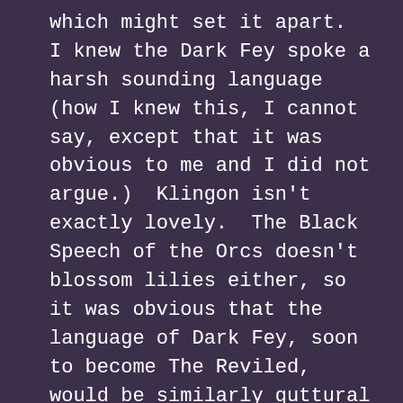which might set it apart.  I knew the Dark Fey spoke a harsh sounding language (how I knew this, I cannot say, except that it was obvious to me and I did not argue.)  Klingon isn't exactly lovely.  The Black Speech of the Orcs doesn't blossom lilies either, so it was obvious that the language of Dark Fey, soon to become The Reviled, would be similarly guttural and grotesque.
Ciaran took on a trilled R, which also made sense since it's a Gaelic name, but the crisp C was just too neat and clean.  What's closest to that sound? K is, as is